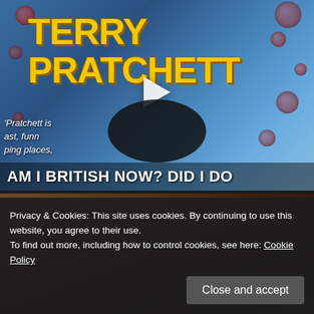[Figure (screenshot): Video thumbnail showing a Terry Pratchett book cover with colorful bubbles on blue background. A play button is centered. Text overlay reads 'AM I BRITISH NOW? DID I DO'. Quote text on left: "Pratchett is ast, funn ping places."]
[Figure (screenshot): Second video thumbnail below, showing a dark brown desk/book scene, partially obscured by cookie consent banner.]
Privacy & Cookies: This site uses cookies. By continuing to use this website, you agree to their use.
To find out more, including how to control cookies, see here: Cookie Policy